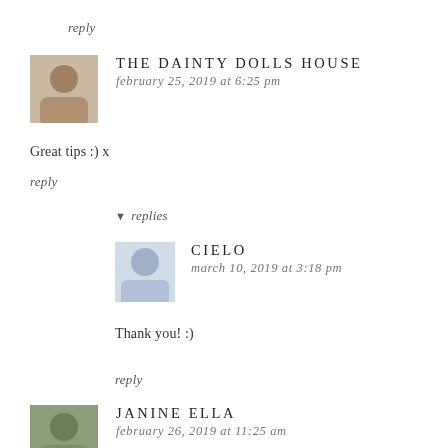reply
THE DAINTY DOLLS HOUSE
february 25, 2019 at 6:25 pm
Great tips :) x
reply
▾ replies
CIELO
march 10, 2019 at 3:18 pm
Thank you! :)
reply
JANINE ELLA
february 26, 2019 at 11:25 am